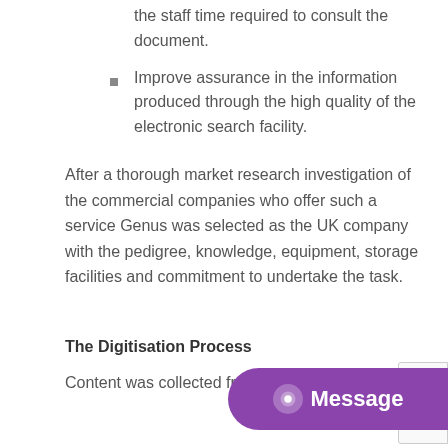the staff time required to consult the document.
Improve assurance in the information produced through the high quality of the electronic search facility.
After a thorough market research investigation of the commercial companies who offer such a service Genus was selected as the UK company with the pedigree, knowledge, equipment, storage facilities and commitment to undertake the task.
The Digitisation Process
Content was collected from the Naval